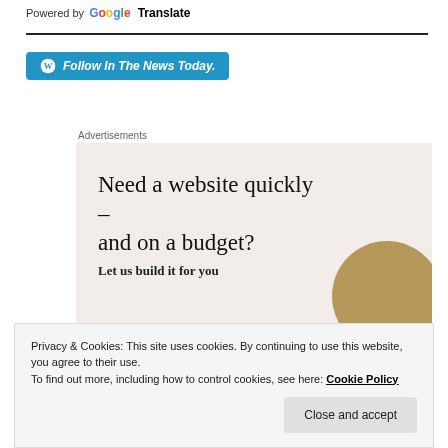Powered by Google Translate
[Figure (screenshot): Follow In The News Today button — WordPress follow button in teal/blue]
Advertisements
[Figure (screenshot): Advertisement: Need a website quickly – and on a budget? Let us build it for you]
Privacy & Cookies: This site uses cookies. By continuing to use this website, you agree to their use.
To find out more, including how to control cookies, see here: Cookie Policy
Close and accept